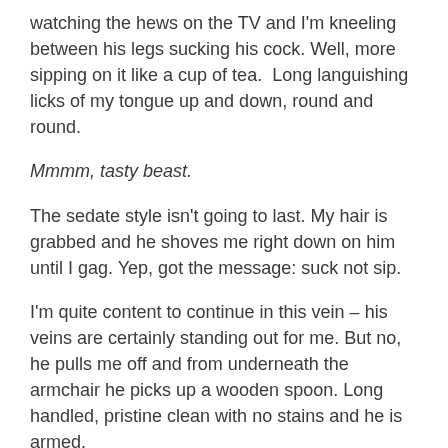watching the hews on the TV and I'm kneeling between his legs sucking his cock. Well, more sipping on it like a cup of tea.  Long languishing licks of my tongue up and down, round and round.
Mmmm, tasty beast.
The sedate style isn't going to last. My hair is grabbed and he shoves me right down on him until I gag. Yep, got the message: suck not sip.
I'm quite content to continue in this vein – his veins are certainly standing out for me. But no, he pulls me off and from underneath the armchair he picks up a wooden spoon. Long handled, pristine clean with no stains and he is armed.
Another one of his hidden toys. When does he do it? Does he sequester the spoon down his trouser leg and then on to the floor when I'm not looking. Perhaps he